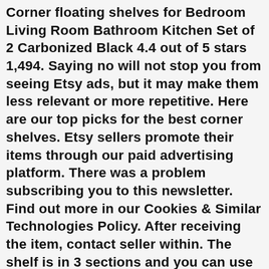Corner floating shelves for Bedroom Living Room Bathroom Kitchen Set of 2 Carbonized Black 4.4 out of 5 stars 1,494. Saying no will not stop you from seeing Etsy ads, but it may make them less relevant or more repetitive. Here are our top picks for the best corner shelves. Etsy sellers promote their items through our paid advertising platform. There was a problem subscribing you to this newsletter. Find out more in our Cookies & Similar Technologies Policy. After receiving the item, contact seller within. The shelf is in 3 sections and you can use separately. Please enter a number less than or equal to 1. Looks like you already have an account! 4.5 out ... Will usually ship within 3 business days of receiving cleared payment. Get it Wednesday, Nov 25. The wall shelf provides an easy way to combine functionality and aesthetics. You've already signed up for some newsletters, but you haven't confirmed your address. You've already signed up for some newsletters, but you haven't confirmed your address. Select PayPal Credit at checkout to have the option to pay over time.  United States  |  English (US)  |  $ (USD), remembering account, browser, and regional preferences, remembering privacy and security settings, personalized search, content, and recommendations, helping sellers